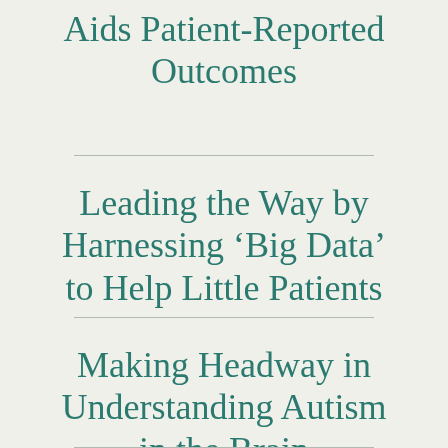Aids Patient-Reported Outcomes
Leading the Way by Harnessing ‘Big Data’ to Help Little Patients
Making Headway in Understanding Autism in the Brain